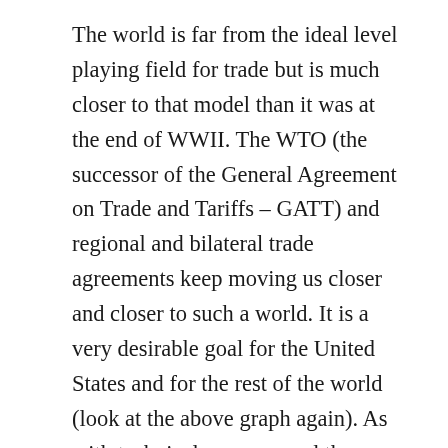The world is far from the ideal level playing field for trade but is much closer to that model than it was at the end of WWII. The WTO (the successor of the General Agreement on Trade and Tariffs – GATT) and regional and bilateral trade agreements keep moving us closer and closer to such a world. It is a very desirable goal for the United States and for the rest of the world (look at the above graph again). As with technical progress and the increasing productivity it brings, some capital and labor (workers) will need to move to new activities and we need to insure that displaced workers do not suffer in the process (we seem to care less about the displaced capitalists assuming, I guess, that they can take care of themselves).